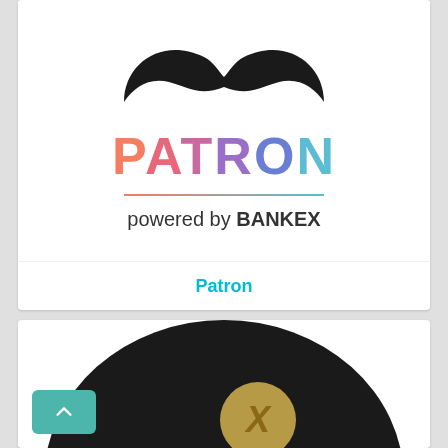[Figure (logo): PATRON powered by BANKEX logo with a black mustache icon above the colorful PATRON text and a horizontal line separator, on a white card background]
Patron
[Figure (logo): Partially visible circular coin/token logo on a dark background, second card]